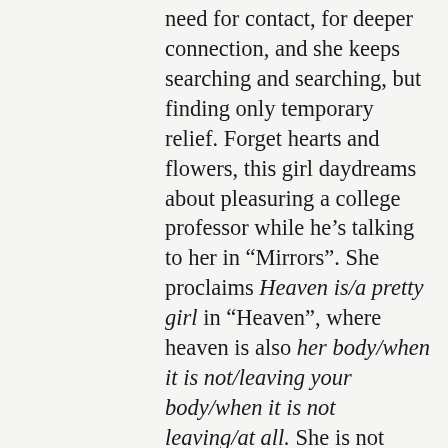need for contact, for deeper connection, and she keeps searching and searching, but finding only temporary relief. Forget hearts and flowers, this girl daydreams about pleasuring a college professor while he's talking to her in “Mirrors”. She proclaims Heaven is/a pretty girl in “Heaven”, where heaven is also her body/when it is not/leaving your body/when it is not leaving/at all. She is not immune to the melancholy, though. In “Heavy”, a ride home lends to deeper reflection: You are sadness with bones in it/murky green water sadness./Thick like a body/heavy like a phone call. It is impressive